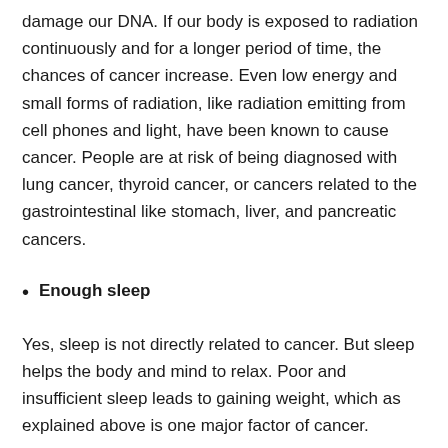damage our DNA. If our body is exposed to radiation continuously and for a longer period of time, the chances of cancer increase. Even low energy and small forms of radiation, like radiation emitting from cell phones and light, have been known to cause cancer. People are at risk of being diagnosed with lung cancer, thyroid cancer, or cancers related to the gastrointestinal like stomach, liver, and pancreatic cancers.
Enough sleep
Yes, sleep is not directly related to cancer. But sleep helps the body and mind to relax. Poor and insufficient sleep leads to gaining weight, which as explained above is one major factor of cancer.
Avoid continuous exposure to the sun